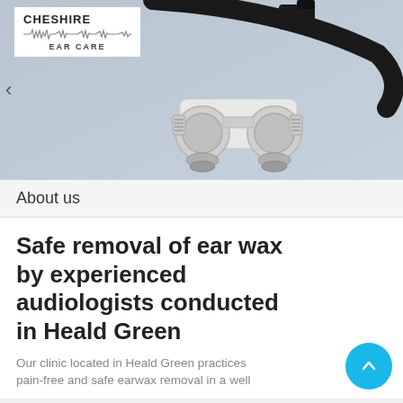[Figure (photo): Medical loupes/magnification headset with binocular lenses on a grey-blue background, with Cheshire Ear Care logo in top-left corner]
About us
Safe removal of ear wax by experienced audiologists conducted in Heald Green
Our clinic located in Heald Green practices pain-free and safe earwax removal in a well